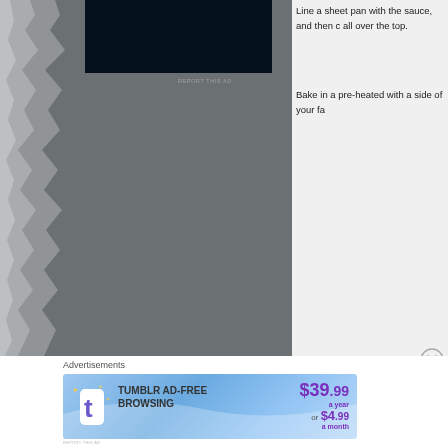[Figure (photo): Left panel showing a dark gray/charcoal image area with a black advertisement box at top and a torn/jagged left edge effect]
REPORT THIS AD
Line a sheet pan with the sauce, and then c all over the top.
Bake in a pre-heated with a side of your fa
[Figure (other): Close button X circle icon]
Advertisements
[Figure (other): Tumblr Ad-Free Browsing advertisement banner showing $39.99 a year or $4.99 a month]